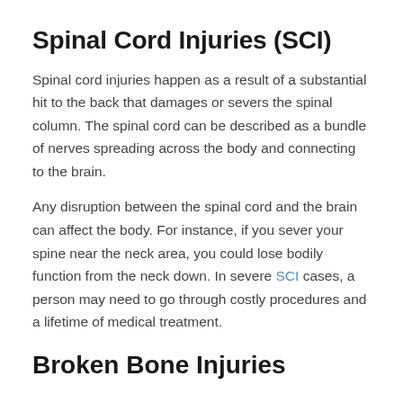Spinal Cord Injuries (SCI)
Spinal cord injuries happen as a result of a substantial hit to the back that damages or severs the spinal column. The spinal cord can be described as a bundle of nerves spreading across the body and connecting to the brain.
Any disruption between the spinal cord and the brain can affect the body. For instance, if you sever your spine near the neck area, you could lose bodily function from the neck down. In severe SCI cases, a person may need to go through costly procedures and a lifetime of medical treatment.
Broken Bone Injuries